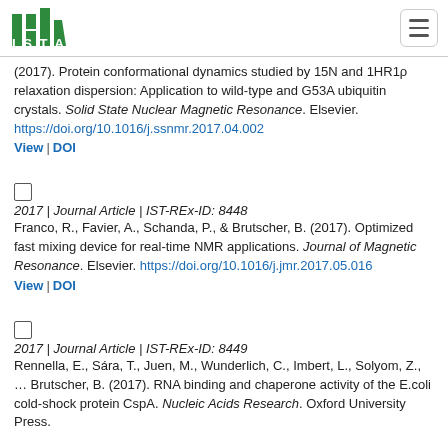ISTA [logo]
(2017). Protein conformational dynamics studied by 15N and 1HR1ρ relaxation dispersion: Application to wild-type and G53A ubiquitin crystals. Solid State Nuclear Magnetic Resonance. Elsevier. https://doi.org/10.1016/j.ssnmr.2017.04.002
View | DOI
2017 | Journal Article | IST-REx-ID: 8448
Franco, R., Favier, A., Schanda, P., & Brutscher, B. (2017). Optimized fast mixing device for real-time NMR applications. Journal of Magnetic Resonance. Elsevier. https://doi.org/10.1016/j.jmr.2017.05.016
View | DOI
2017 | Journal Article | IST-REx-ID: 8449
Rennella, E., Sára, T., Juen, M., Wunderlich, C., Imbert, L., Solyom, Z., … Brutscher, B. (2017). RNA binding and chaperone activity of the E.coli cold-shock protein CspA. Nucleic Acids Research. Oxford University Press.